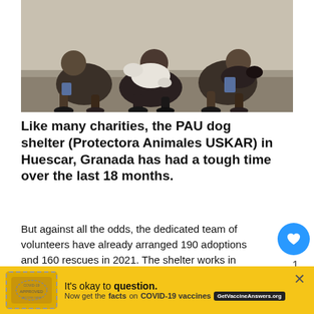[Figure (photo): Group of people sitting on the ground outdoors with dogs, black and white photo]
Like many charities, the PAU dog shelter (Protectora Animales USKAR) in Huescar, Granada has had a tough time over the last 18 months.
But against all the odds, the dedicated team of volunteers have already arranged 190 adoptions and 160 rescues in 2021. The shelter works in collaboration with other centres including Mar Patrulla Canina de Madrid.
The shelter could not operate without the team that...